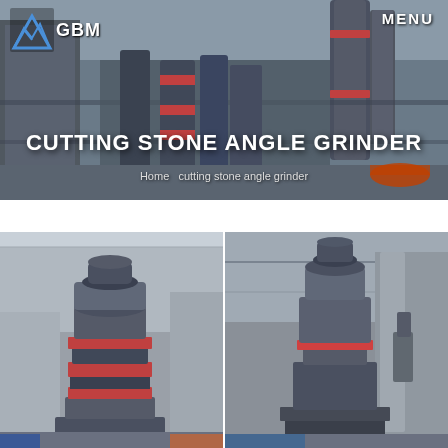[Figure (photo): Industrial machinery hall with large grinding/milling machines, GBM logo banner with MENU navigation]
CUTTING STONE ANGLE GRINDER
Home   cutting stone angle grinder
[Figure (photo): Industrial cone crusher / grinding mill machine in warehouse]
[Figure (photo): Industrial vertical mill / grinding machine in industrial setting]